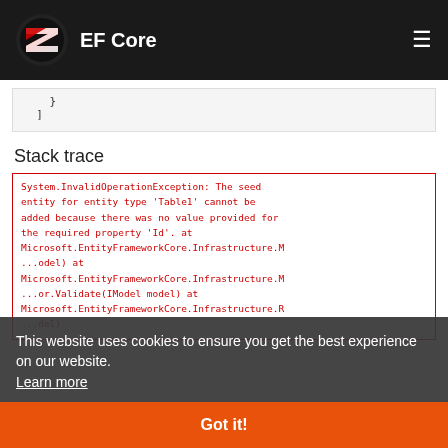EF Core
}
]
Stack trace
System.InvalidOperationException: The seed entity for entity type 'Table1' cannot be added because there was no value provided for the required property 'Id'. at Microsoft.EntityFrameworkCore.Infrastructure.M...odel) at Microsoft.EntityFrameworkCore.Infrastructure.M...or.Validate(IModel model) at Microsoft.EntityFrameworkCore.Infrastructure.R...del)
This website uses cookies to ensure you get the best experience on our website. Learn more
Got it!